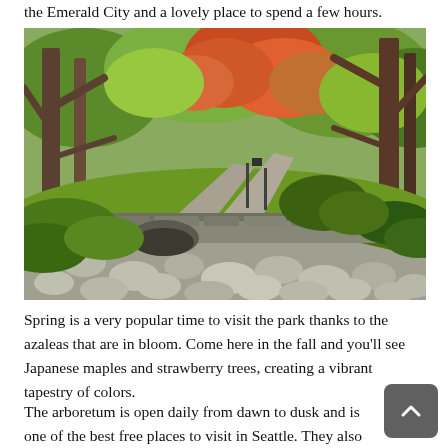the Emerald City and a lovely place to spend a few hours.
[Figure (photo): Japanese garden with colorful autumn maple trees (red, orange, green foliage), a stone cobblestone bridge/path in the foreground, and winding gravel path leading into the lush garden park.]
Spring is a very popular time to visit the park thanks to the azaleas that are in bloom. Come here in the fall and you'll see Japanese maples and strawberry trees, creating a vibrant tapestry of colors.
The arboretum is open daily from dawn to dusk and is one of the best free places to visit in Seattle. They also have several different